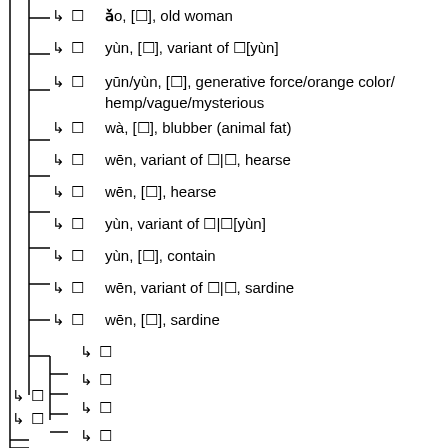ǎo, [䶅], old woman
yùn, [鋆], variant of 𫂁[yùn]
yūn/yùn, [熅], generative force/orange color/hemp/vague/mysterious
wà, [膃], blubber (animal fat)
wēn, variant of 𩵩|𩵩, hearse
wēn, [𩵩], hearse
yùn, variant of 𫂁|𫂁[yùn]
yùn, [孕], contain
wēn, variant of 𩵩|𩵩, sardine
wēn, [鰛], sardine
⿰
⿰
⿰
⿰
⿰
⿰